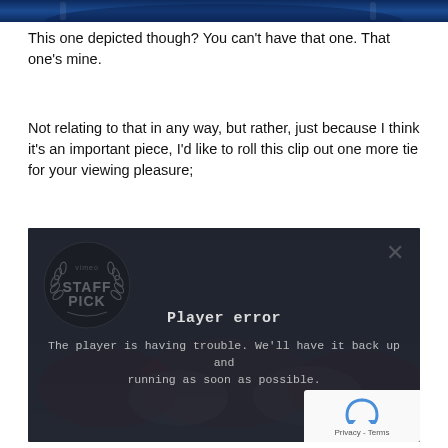[Figure (photo): Top partial image showing a blue-toned hockey or sports-themed banner/header image, partially cropped at the top of the page.]
This one depicted though? You can't have that one. That one's mine.
Not relating to that in any way, but rather, just because I think it's an important piece, I'd like to roll this clip out one more tie for your viewing pleasure;
[Figure (screenshot): Vimeo embedded video player showing a 'Staff Pick' badge on the left, an X close button on the top right, and a player error message overlay reading 'Player error - The player is having trouble. We'll have it back up and running as soon as possible.' Background shows a crowd of athletes in red and white. Bottom right shows a reCAPTCHA widget with Privacy - Terms text.]